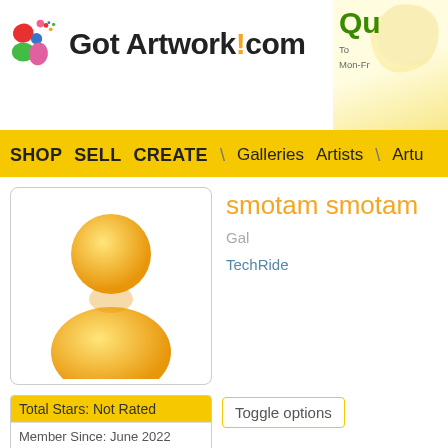[Figure (logo): Got Artwork!com logo with colorful dots and text]
Qu
To
Mon-Fr
SHOP   SELL   CREATE   \   Galleries   Artists   \   Artu
smotam smotam Gal
TechRide
[Figure (illustration): Generic golden user/person silhouette avatar placeholder]
Total Stars: Not Rated
Toggle options
Member Since: June 2022